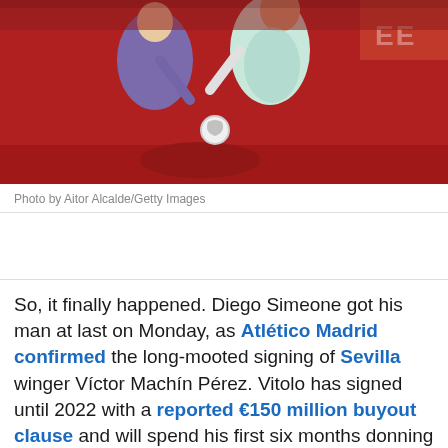[Figure (photo): Football/soccer action photo showing players competing for the ball — one in purple kit, one in white/light blue kit, on a red-background stadium]
Photo by Aitor Alcalde/Getty Images
So, it finally happened. Diego Simeone got his man at last on Monday, as Atlético Madrid confirmed the long-mooted signing of Sevilla winger Víctor Machín Pérez. Vitolo has signed until 2022 with a reported €150 million buyout clause and will spend his first six months donning the familiar yellow and blue of Las Palmas, the club he played for between 2010 and 2013. Atlético's FIFA imposed registration ban will